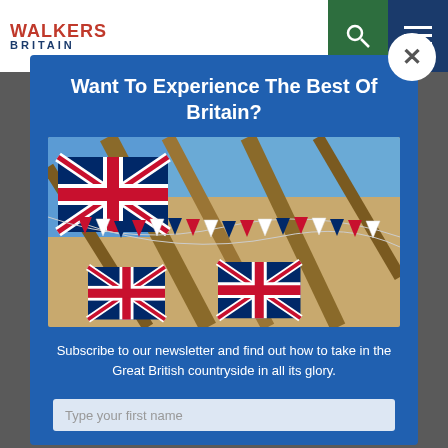WALKERS BRITAIN
Want To Experience The Best Of Britain?
[Figure (photo): Union Jack flags and colourful bunting hanging from wooden beams inside a building, with red, white, and blue triangular pennants strung across the rafters.]
Subscribe to our newsletter and find out how to take in the Great British countryside in all its glory.
Type your first name